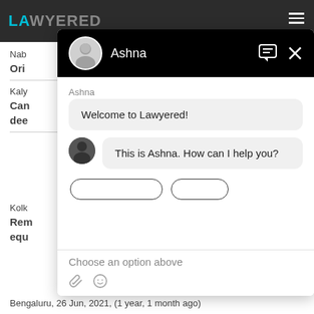[Figure (screenshot): Screenshot of Lawyered website with a chat widget overlay. The chat widget shows a conversation with 'Ashna', with messages 'Welcome to Lawyered!' and 'This is Ashna. How can I help you?'. The chat input area shows 'Choose an option above' placeholder text.]
Nab
Ori
Kaly
Can dee
Kolk
Rem equ
Bengaluru,  26 Jun, 2021,  (1 year, 1 month ago)
Ashna
Welcome to Lawyered!
This is Ashna. How can I help you?
Choose an option above